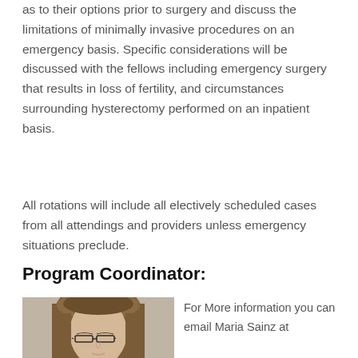as to their options prior to surgery and discuss the limitations of minimally invasive procedures on an emergency basis. Specific considerations will be discussed with the fellows including emergency surgery that results in loss of fertility, and circumstances surrounding hysterectomy performed on an inpatient basis.
All rotations will include all electively scheduled cases from all attendings and providers unless emergency situations preclude.
Program Coordinator:
[Figure (photo): Headshot photograph of a woman with long brown hair and glasses, wearing a dark top, against a light gray background.]
For More information you can email Maria Sainz at